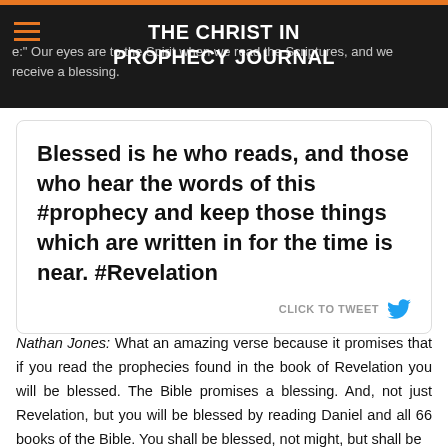THE CHRIST IN PROPHECY JOURNAL
Blessed is he who reads, and those who hear the words of this #prophecy and keep those things which are written in for the time is near. #Revelation
Nathan Jones: What an amazing verse because it promises that if you read the prophecies found in the book of Revelation you will be blessed. The Bible promises a blessing. And, not just Revelation, but you will be blessed by reading Daniel and all 66 books of the Bible. You shall be blessed, not might, but shall be